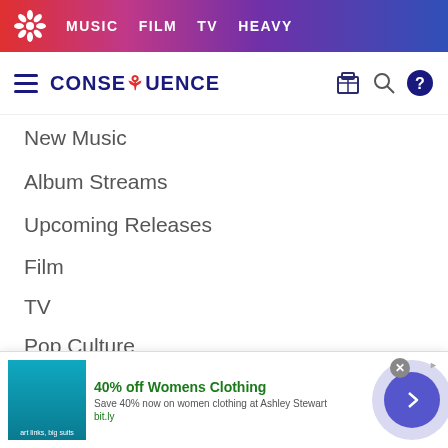MUSIC  FILM  TV  HEAVY
[Figure (logo): Consequence of Sound logo with flower icon and navigation icons]
New Music
Album Streams
Upcoming Releases
Film
TV
Pop Culture
Tours
Reviews
[Figure (screenshot): Advertisement banner: 40% off Womens Clothing - Save 40% now on women clothing at Ashley Stewart - bit.ly]